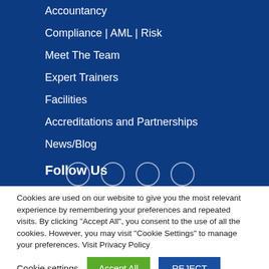Accountancy
Compliance | AML | Risk
Meet The Team
Expert Trainers
Facilities
Accreditations and Partnerships
News/Blog
Follow Us
[Figure (other): Four social media icon circles (partially visible at bottom of blue section)]
Cookies are used on our website to give you the most relevant experience by remembering your preferences and repeated visits. By clicking "Accept All", you consent to the use of all the cookies. However, you may visit "Cookie Settings" to manage your preferences. Visit Privacy Policy
Cookie settings  Accept All  REJECT